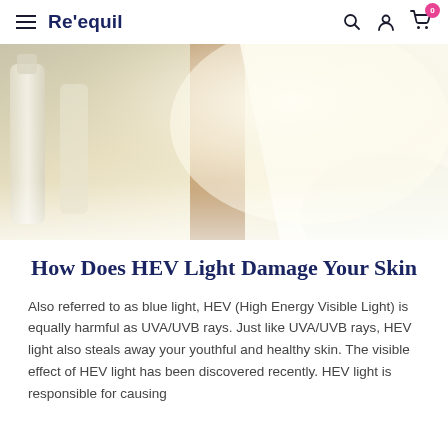Re'equil
[Figure (photo): Close-up photo of what appears to be skincare products or bottles with warm, blurred background lighting including warm tones of cream, brown, and green]
How Does HEV Light Damage Your Skin
Also referred to as blue light, HEV (High Energy Visible Light) is equally harmful as UVA/UVB rays. Just like UVA/UVB rays, HEV light also steals away your youthful and healthy skin. The visible effect of HEV light has been discovered recently. HEV light is responsible for causing